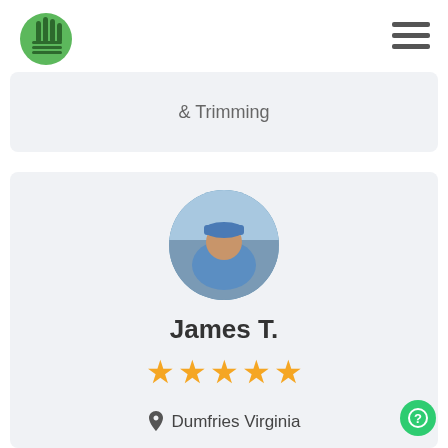Logo and navigation
& Trimming
[Figure (photo): Profile photo of James T., a man wearing a blue shirt and blue cap, circular crop]
James T.
★★★★★ (5 stars)
Dumfries Virginia